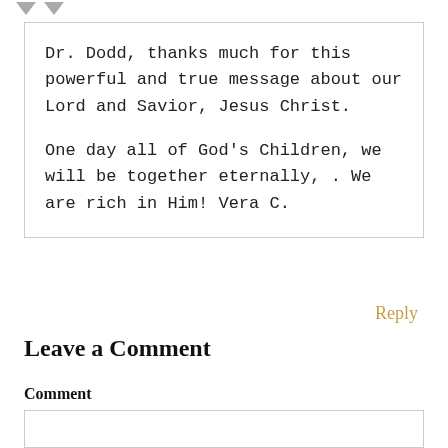Dr. Dodd, thanks much for this powerful and true message about our Lord and Savior, Jesus Christ.

One day all of God's Children, we will be together eternally, . We are rich in Him! Vera C.
Reply
Leave a Comment
Comment